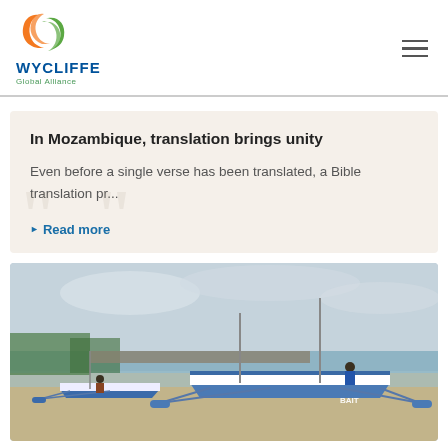Wycliffe Global Alliance
In Mozambique, translation brings unity
Even before a single verse has been translated, a Bible translation pr...
Read more
[Figure (photo): Photograph of fishing boats with outriggers on a beach shore with calm ocean water and cloudy sky in the background, likely in a coastal Southeast Asian or African location.]